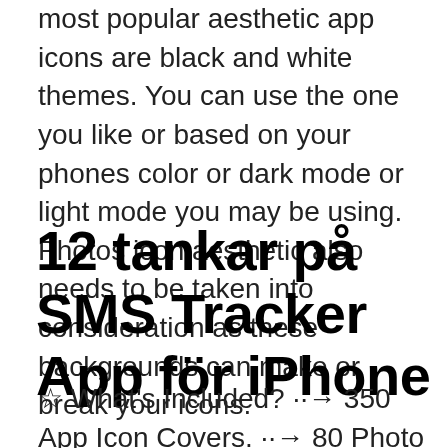most popular aesthetic app icons are black and white themes. You can use the one you like or based on your phones color or dark mode or light mode you may be using. Photos icon aesthetic also needs to be taken into consideration as these backgrounds can make or break your icons.
12 tankar på SMS Tracker App för iPhone
☆ What's Included? ··→ 350 App Icon Covers. ··→ 80 Photo Widgets (App  Bohemian IPhone iOS 14 App icons Theme Pack, Cream Beige Aesthetic Home Screen, Abstract App Icon Bundle, IOS Boho Style Wallpaper & Widgets. Pink App Pack , ios 14 icons, ios14 Homescreen Icons, App Icons Aesthetic, App